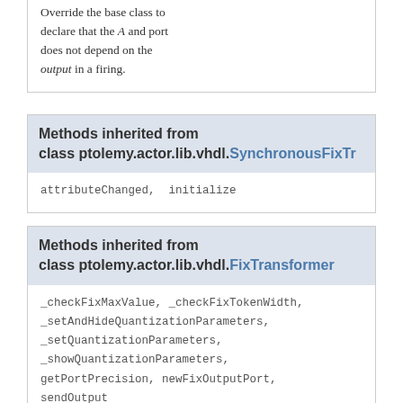Override the base class to declare that the A and port does not depend on the output in a firing.
Methods inherited from class ptolemy.actor.lib.vhdl.SynchronousFixTr
attributeChanged, initialize
Methods inherited from class ptolemy.actor.lib.vhdl.FixTransformer
_checkFixMaxValue, _checkFixTokenWidth, _setAndHideQuantizationParameters, _setQuantizationParameters, _showQuantizationParameters, getPortPrecision, newFixOutputPort, sendOutput
Methods inherited from class ptolemy.actor.TypedAtomicActor